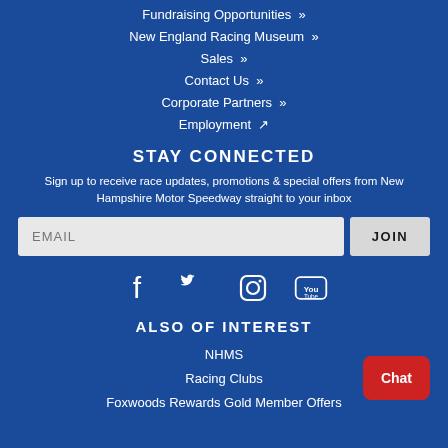Fundraising Opportunities »
New England Racing Museum »
Sales »
Contact Us »
Corporate Partners »
Employment ↗
STAY CONNECTED
Sign up to receive race updates, promotions & special offers from New Hampshire Motor Speedway straight to your inbox
[Figure (infographic): Email signup form with text input labeled EMAIL and a JOIN button]
[Figure (infographic): Social media icons: Facebook, Twitter, Instagram, YouTube]
ALSO OF INTEREST
NHMS
Racing Clubs
Foxwoods Rewards Gold Member Offers
[Figure (other): Red Chat button in bottom right corner]